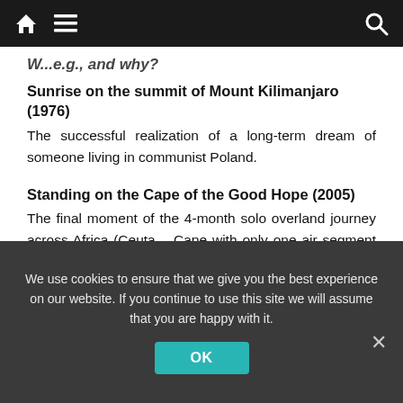Navigation bar with home, menu, and search icons
W... e.g., and why?
Sunrise on the summit of Mount Kilimanjaro (1976)
The successful realization of a long-term dream of someone living in communist Poland.
Standing on the Cape of the Good Hope (2005)
The final moment of the 4-month solo overland journey across Africa (Ceuta – Cape with only one air segment over warring Congo DR).
Enjoying the panorama of the Himalayas from Kala Pattar (1987)
We use cookies to ensure that we give you the best experience on our website. If you continue to use this site we will assume that you are happy with it.